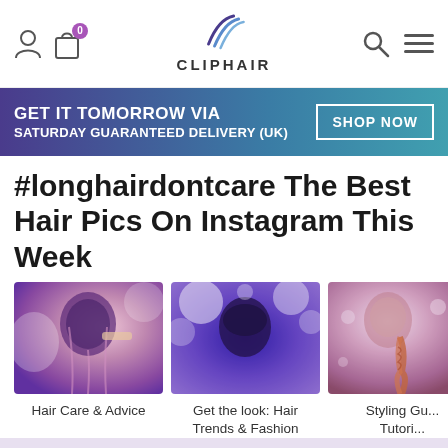CLIPHAIR
GET IT TOMORROW VIA SATURDAY GUARANTEED DELIVERY (UK) SHOP NOW
#longhairdontcare The Best Hair Pics On Instagram This Week
[Figure (photo): Woman brushing long straight dark hair with pink/purple tint]
Hair Care & Advice
[Figure (photo): Woman with dark curly updo hair at party with bright lights, purple tint]
Get the look: Hair Trends & Fashion
[Figure (photo): Woman with long braided red/orange hair, pink/purple tint]
Styling Gu... Tutori...